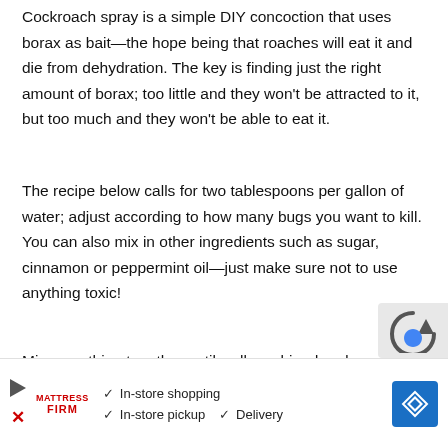Cockroach spray is a simple DIY concoction that uses borax as bait—the hope being that roaches will eat it and die from dehydration. The key is finding just the right amount of borax; too little and they won't be attracted to it, but too much and they won't be able to eat it.
The recipe below calls for two tablespoons per gallon of water; adjust according to how many bugs you want to kill. You can also mix in other ingredients such as sugar, cinnamon or peppermint oil—just make sure not to use anything toxic!
Mix everything together until well combined and pour into spray bottles. Spray along baseboards, behind furniture...
[Figure (other): Advertisement banner for Mattress Firm with play button icon, X icon, Mattress Firm logo, checkmarks listing In-store shopping, In-store pickup, Delivery, and a blue map/navigation icon]